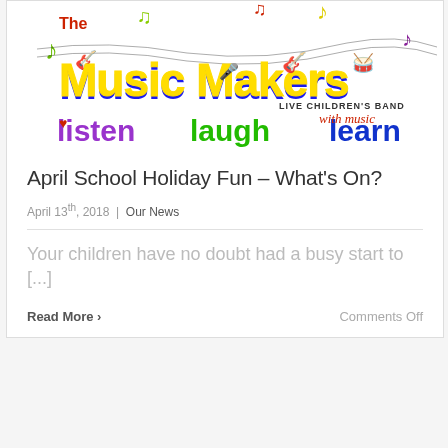[Figure (illustration): The Music Makers Live Children's Band logo banner with colorful musical notes, instruments (guitar, drums), and tagline 'listen laugh learn with music' in purple, green, and blue letters on white background.]
April School Holiday Fun – What's On?
April 13th, 2018  |  Our News
Your children have no doubt had a busy start to [...]
Read More >
Comments Off